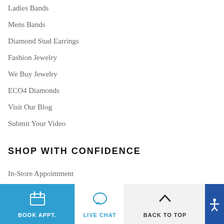Ladies Bands
Mens Bands
Diamond Stud Earrings
Fashion Jewelry
We Buy Jewelry
ECO4 Diamonds
Visit Our Blog
Submit Your Video
SHOP WITH CONFIDENCE
In-Store Appointment
Jewelry Repairs
Our Warranty
Perfect Ring Promise
Customer Service
BOOK APPT. | LIVE CHAT | BACK TO TOP